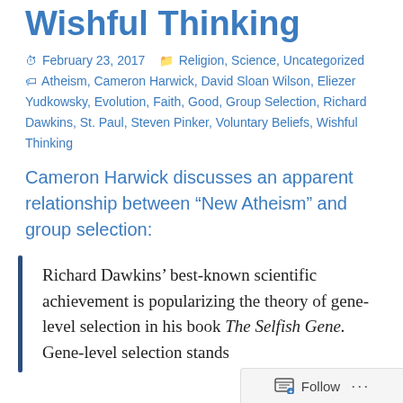Wishful Thinking
February 23, 2017   Religion, Science, Uncategorized   Atheism, Cameron Harwick, David Sloan Wilson, Eliezer Yudkowsky, Evolution, Faith, Good, Group Selection, Richard Dawkins, St. Paul, Steven Pinker, Voluntary Beliefs, Wishful Thinking
Cameron Harwick discusses an apparent relationship between “New Atheism” and group selection:
Richard Dawkins’ best-known scientific achievement is popularizing the theory of gene-level selection in his book The Selfish Gene. Gene-level selection stands